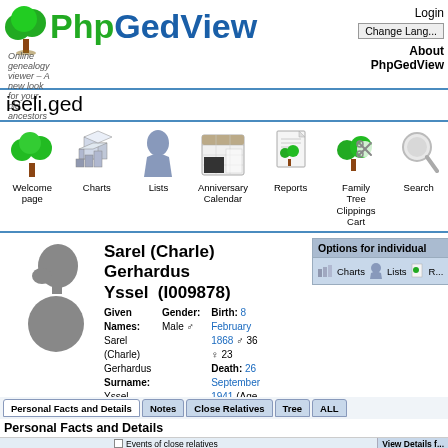PhpGedView — Online genealogy viewer — A new look for your old ancestors
iseli.ged
[Figure (infographic): Navigation icons row: Welcome page (tree icon), Charts (3D chart icon), Lists (person icon), Anniversary Calendar (calendar icon), Reports (document with tree icon), Family Tree Clippings Cart (scissors icon), Search (magnifying glass icon)]
Sarel (Charle) Gerhardus Yssel (I009878)
Given Names: Sarel (Charle) Gerhardus  Surname: Yssel  Gender: Male  Birth: 8 February 1868  Death: 26 September 1941 (Age 73)
Options for individual: Charts  Lists  R...
Personal Facts and Details
Events of close relatives
View Details f...